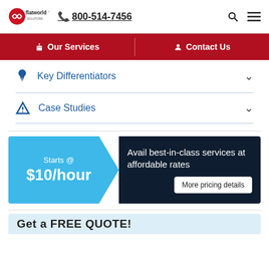flatworld solutions | 800-514-7456
Our Services
Contact Us
Key Differentiators
Case Studies
Starts @ $10/hour — Avail best-in-class services at affordable rates
More pricing details
Get a FREE QUOTE!